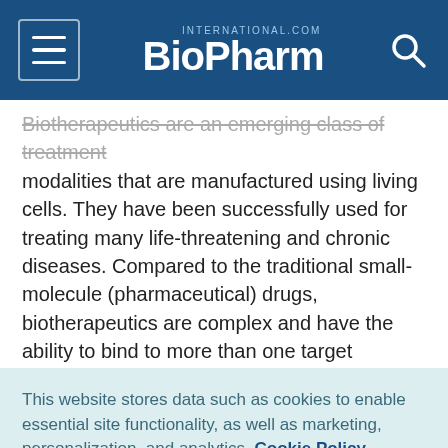BioPharm International
Biotherapeutics are an emerging class of treatment modalities that are manufactured using living cells. They have been successfully used for treating many life-threatening and chronic diseases. Compared to the traditional small-molecule (pharmaceutical) drugs, biotherapeutics are complex and have the ability to bind to more than one target molecule. Biosimilars provide a more affordable treatment option, and this is likely to become more relevant in the future as the affordability of these products remains critically poor in
This website stores data such as cookies to enable essential site functionality, as well as marketing, personalization, and analytics. Cookie Policy
Accept
Deny